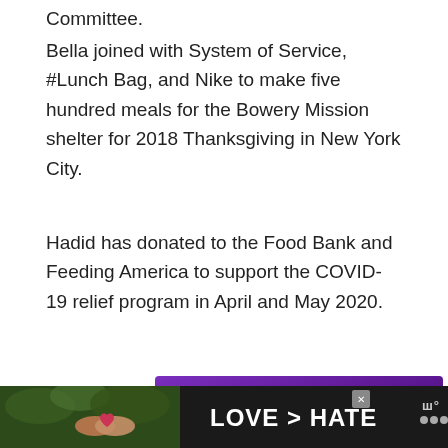Committee.
Bella joined with System of Service, #Lunch Bag, and Nike to make five hundred meals for the Bowery Mission shelter for 2018 Thanksgiving in New York City.
Hadid has donated to the Food Bank and Feeding America to support the COVID-19 relief program in April and May 2020.
[Figure (other): Purple advertisement banner with text 'let's show it some love' with a pink heart icon and 'love' in gold/yellow color]
[Figure (other): Dark advertisement banner with green foliage background, hands forming a heart shape, and text 'LOVE > HATE' in white bold letters, with a close button and logo on the right]